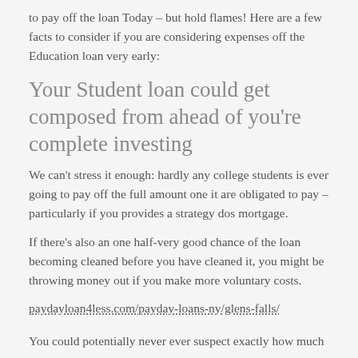to pay off the loan Today – but hold flames! Here are a few facts to consider if you are considering expenses off the Education loan very early:
Your Student loan could get composed from ahead of you're complete investing
We can't stress it enough: hardly any college students is ever going to pay off the full amount one it are obligated to pay – particularly if you provides a strategy dos mortgage.
If there's also an one half-very good chance of the loan becoming cleaned before you have cleaned it, you might be throwing money out if you make more voluntary costs.
paydayloan4less.com/payday-loans-ny/glens-falls/
You could potentially never ever suspect exactly how much